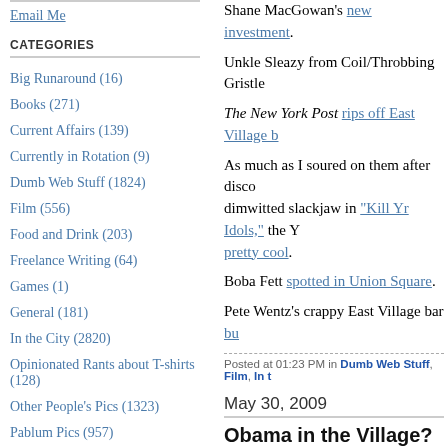Email Me
CATEGORIES
Big Runaround (16)
Books (271)
Current Affairs (139)
Currently in Rotation (9)
Dumb Web Stuff (1824)
Film (556)
Food and Drink (203)
Freelance Writing (64)
Games (1)
General (181)
In the City (2820)
Opinionated Rants about T-shirts (128)
Other People's Pics (1323)
Pablum Pics (957)
Shane MacGowan's new investment.
Unkle Sleazy from Coil/Throbbing Gristle
The New York Post rips off East Village b
As much as I soured on them after discovering a dimwitted slackjaw in "Kill Yr Idols," the Y... pretty cool.
Boba Fett spotted in Union Square.
Pete Wentz's crappy East Village bar bu
Posted at 01:23 PM in Dumb Web Stuff, Film, In t
May 30, 2009
Obama in the Village?
So, I took the kids out to a playground ov Village this afternoon. While Charlotte & couldn't help noticing a disconcerting pre overhead. When it was time to go, the en police cars and 6th Avenue was restricte snail's pace. It was quite a chaotic scene President Obama was having an early di